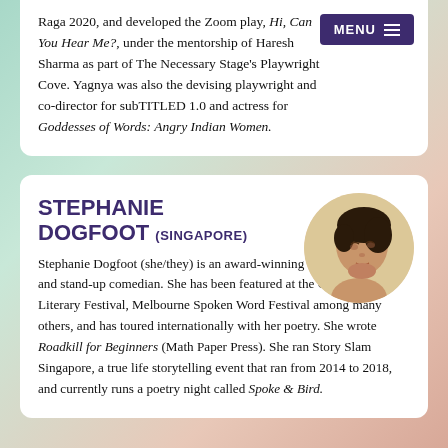Raga 2020, and developed the Zoom play, Hi, Can You Hear Me?, under the mentorship of Haresh Sharma as part of The Necessary Stage's Playwright Cove. Yagnya was also the devising playwright and co-director for subTITLED 1.0 and actress for Goddesses of Words: Angry Indian Women.
STEPHANIE DOGFOOT (SINGAPORE)
[Figure (photo): Circular portrait photo of Stephanie Dogfoot, a person with short dark hair, looking slightly upward, against a light beige/cream background.]
Stephanie Dogfoot (she/they) is an award-winning spoken word poet and stand-up comedian. She has been featured at the George Town Literary Festival, Melbourne Spoken Word Festival among many others, and has toured internationally with her poetry. She wrote Roadkill for Beginners (Math Paper Press). She ran Story Slam Singapore, a true life storytelling event that ran from 2014 to 2018, and currently runs a poetry night called Spoke & Bird.